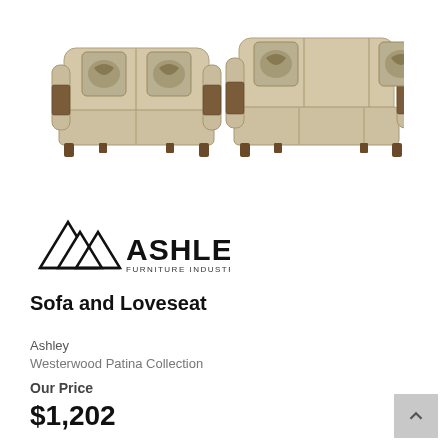[Figure (photo): Product photo of Ashley Furniture sofa and loveseat set in beige/tan upholstery with decorative pillows and dark wood legs]
[Figure (logo): Ashley Furniture Industries, LLC logo with mountain triangle graphic and bold ASHLEY text]
Sofa and Loveseat
Ashley
Westerwood Patina Collection
Our Price
$1,202